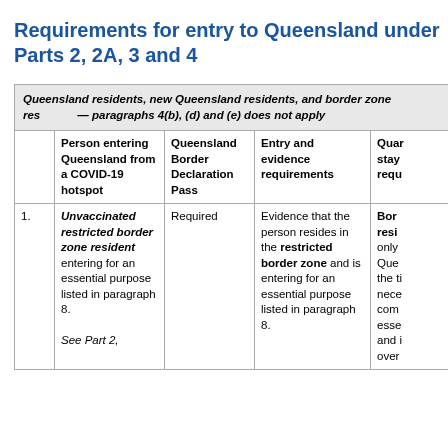Requirements for entry to Queensland under Parts 2, 2A, 3 and 4
|  | Person entering Queensland from a COVID-19 hotspot | Queensland Border Declaration Pass | Entry and evidence requirements | Quarantine stay requirements |
| --- | --- | --- | --- | --- |
| Queensland residents, new Queensland residents, and border zone residents — paragraphs 4(b), (d) and (e) does not apply |  |  |  |  |
| 1. | Unvaccinated restricted border zone resident entering for an essential purpose listed in paragraph 8. See Part 2, | Required | Evidence that the person resides in the restricted border zone and is entering for an essential purpose listed in paragraph 8. | Bord resid only Quee the ti nece comp esse and i over |